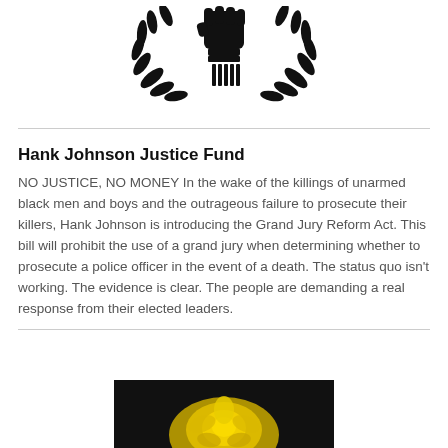[Figure (logo): Black silhouette emblem: raised fist with laurel wreath branches on either side, with a wrapped handle beneath the fist]
Hank Johnson Justice Fund
NO JUSTICE, NO MONEY In the wake of the killings of unarmed black men and boys and the outrageous failure to prosecute their killers, Hank Johnson is introducing the Grand Jury Reform Act. This bill will prohibit the use of a grand jury when determining whether to prosecute a police officer in the event of a death. The status quo isn't working. The evidence is clear. The people are demanding a real response from their elected leaders.
[Figure (photo): Yellow rose against dark background, partially visible at bottom of page]